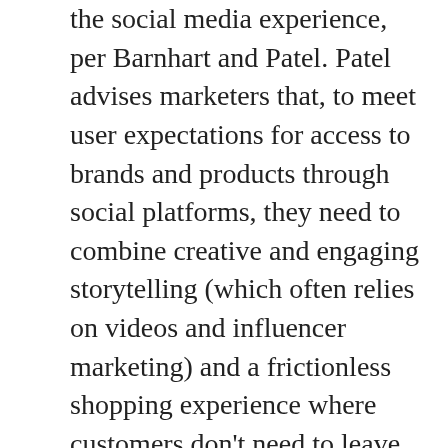the social media experience, per Barnhart and Patel. Patel advises marketers that, to meet user expectations for access to brands and products through social platforms, they need to combine creative and engaging storytelling (which often relies on videos and influencer marketing) and a frictionless shopping experience where customers don't need to leave the social media site to buy products. Watch for an increasing number of shoppable posts, stories and links on all social media sites. Barnhart likewise sees increased direct business from customers on social media and points to examples such as Facebook's roll-out of personalized ad experiences that deliver products dynamically to customers, changing